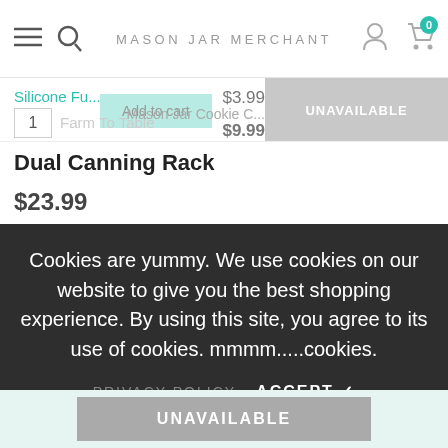MASON JAR MERCHANT — navigation bar with hamburger, search, user, cart (0)
Silicone Fu...  $3.99  UNAVAILABLE  Add to cart  1  Farm To Table  Mason Jar Cookie C...  $9.99
Dual Canning Rack
$23.99
Cookies are yummy. We use cookies on our website to give you the best shopping experience. By using this site, you agree to its use of cookies. mmmm.....cookies.
PRIVACY POLICY   ACCEPT ✓
UNAVAILABLE